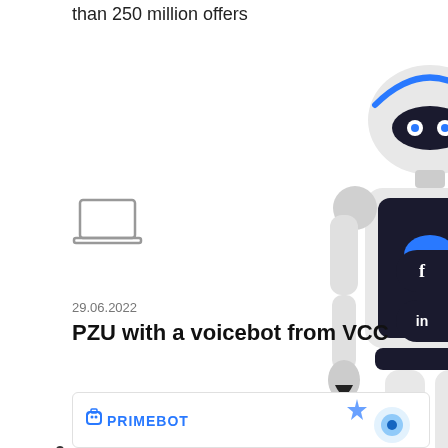than 250 million offers
[Figure (illustration): A white humanoid robot with a dark torso featuring a blue speech bubble icon, holding a smartphone. Surrounding the robot are decorative icons: a laptop, an envelope, dots, and asterisk/star shapes. Social media buttons (f for Facebook, in for LinkedIn) appear on the right edge.]
29.06.2022
PZU with a voicebot from VCC
[Figure (logo): PRIMEBOT logo in blue text with a robot icon, followed by a partial illustration with blue sparkle and circular graphic elements at the bottom of the page.]